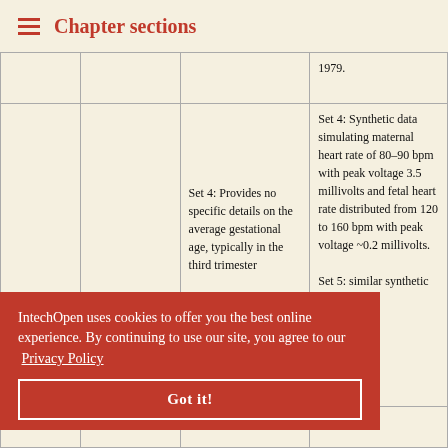Chapter sections
|  |  |  |  |
| --- | --- | --- | --- |
|  |  |  | 1979. |
| Set 4 and Set | Adaptive least-mean-square | Set 4: Provides no specific details on the average gestational age, typically in the third trimester | Set 4: Synthetic data simulating maternal heart rate of 80–90 bpm with peak voltage 3.5 millivolts and fetal heart rate distributed from 120 to 160 bpm with peak voltage ~0.2 millivolts.

Set 5: similar synthetic data |
IntechOpen uses cookies to offer you the best online experience. By continuing to use our site, you agree to our Privacy Policy

Got it!